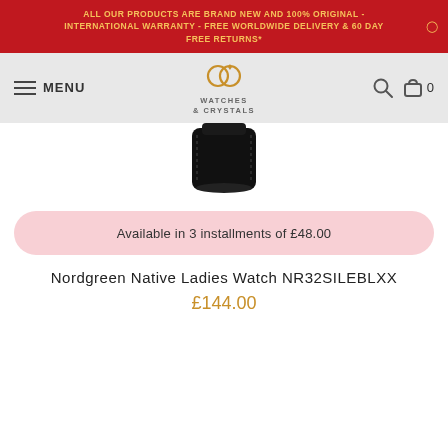ALL OUR PRODUCTS ARE BRAND NEW AND 100% ORIGINAL - INTERNATIONAL WARRANTY - FREE WORLDWIDE DELIVERY & 60 DAY FREE RETURNS*
[Figure (logo): Watches & Crystals logo with interlinked rings icon and text WATCHES & CRYSTALS]
[Figure (photo): Close-up of black leather watch strap clasp/buckle]
Available in 3 installments of £48.00
Nordgreen Native Ladies Watch NR32SILEBLXX
£144.00